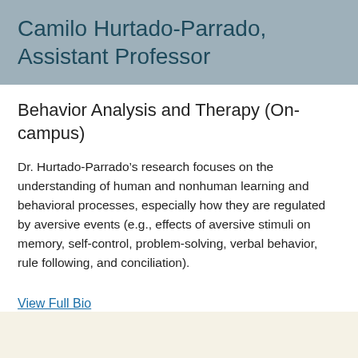Camilo Hurtado-Parrado, Assistant Professor
Behavior Analysis and Therapy (On-campus)
Dr. Hurtado-Parrado’s research focuses on the understanding of human and nonhuman learning and behavioral processes, especially how they are regulated by aversive events (e.g., effects of aversive stimuli on memory, self-control, problem-solving, verbal behavior, rule following, and conciliation).
View Full Bio